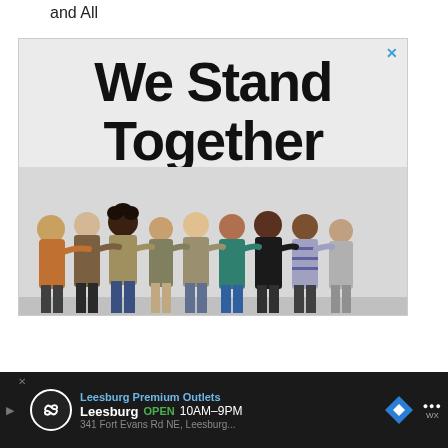and All
[Figure (photo): Advertisement banner showing a group of diverse people standing in a row with arms around each other, viewed from behind, with large bold text 'We Stand Together' above them on a light gray background. An X close button is visible in the top-right corner.]
Leesburg Premium Outlets   Leesburg   OPEN 10AM–9PM   341 Fort Evans Rd NE, Leesburg...